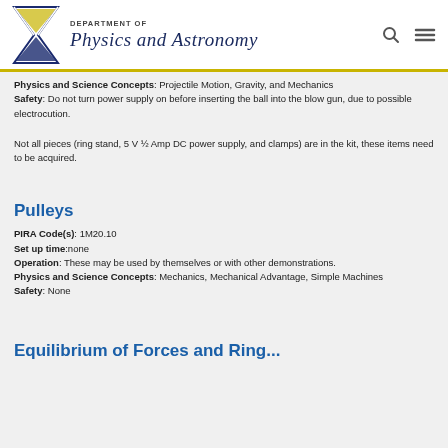Department of Physics and Astronomy
Physics and Science Concepts: Projectile Motion, Gravity, and Mechanics
Safety: Do not turn power supply on before inserting the ball into the blow gun, due to possible electrocution.
Not all pieces (ring stand, 5 V ½ Amp DC power supply, and clamps) are in the kit, these items need to be acquired.
Pulleys
PIRA Code(s): 1M20.10
Set up time: none
Operation: These may be used by themselves or with other demonstrations.
Physics and Science Concepts: Mechanics, Mechanical Advantage, Simple Machines
Safety: None
Equilibrium of Forces and Ring...